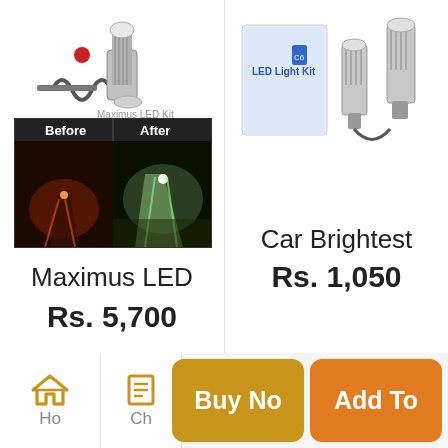[Figure (photo): Top portion of Maximus LED product image (car LED headlight kit parts), partially cropped]
[Figure (photo): Before and After comparison image showing road at night - left half dark/red tinted, right half bright/green tinted with 'Before' and 'After' labels at top]
Maximus LED
Rs. 5,700
[Figure (photo): Top portion of Car Brightest LED headlight kit product image showing two bulbs and packaging box, partially cropped]
Car Brightest
Rs. 1,050
[Figure (screenshot): Bottom navigation bar with Home icon and label 'Ho', Checkout icon and label 'Ch', a gold/yellow 'Buy No' button, and an orange 'Add To' button]